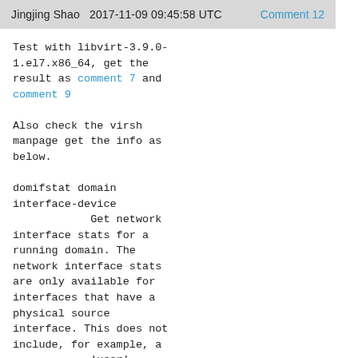Jingjing Shao   2017-11-09 09:45:58 UTC   Comment 12
Test with libvirt-3.9.0-1.el7.x86_64, get the result as comment 7 and comment 9

Also check the virsh manpage get the info as below.

domifstat domain interface-device
            Get network interface stats for a running domain. The network interface stats are only available for interfaces that have a physical source interface. This does not include, for example, a            'user' interface type since it is a virtual LAN with NAT to the outside world. interface-device can be the interface